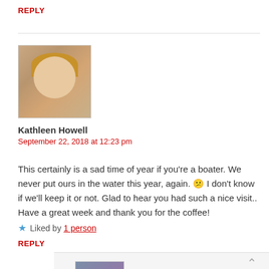REPLY
[Figure (photo): Profile photo of Kathleen Howell, a woman with blonde/reddish hair, smiling]
Kathleen Howell
September 22, 2018 at 12:23 pm
This certainly is a sad time of year if you're a boater. We never put ours in the water this year, again. 😕 I don't know if we'll keep it or not. Glad to hear you had such a nice visit.. Have a great week and thank you for the coffee!
★ Liked by 1 person
REPLY
[Figure (photo): Profile photo of a woman with grey/blue hair, smiling, wearing glasses and a purple top]